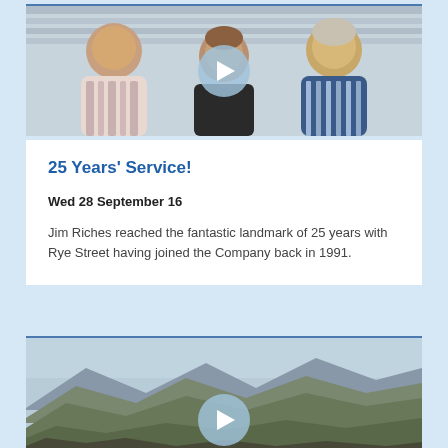[Figure (photo): Photo of three men smiling together indoors, with a video play button overlay]
25 Years' Service!
Wed 28 September 16
Jim Riches reached the fantastic landmark of 25 years with Rye Street having joined the Company back in 1991.
[Figure (photo): Scenic mountain landscape photo with green hills and a valley, with a video play button overlay]